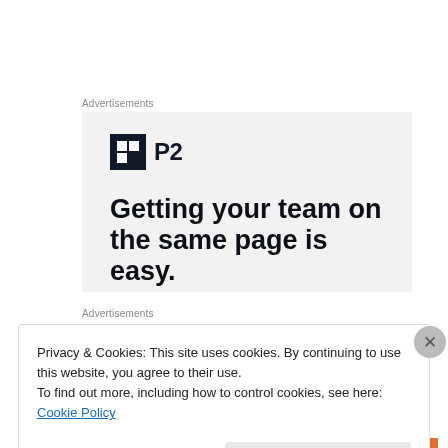Advertisements
[Figure (illustration): P2 advertisement banner with dark square logo icon and text 'Getting your team on the same page is easy.']
Advertisements
Privacy & Cookies: This site uses cookies. By continuing to use this website, you agree to their use.
To find out more, including how to control cookies, see here: Cookie Policy
Close and accept